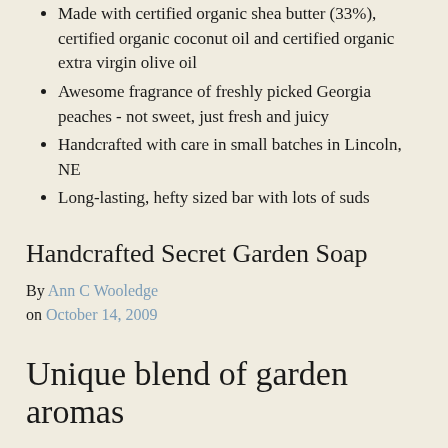Made with certified organic shea butter (33%), certified organic coconut oil and certified organic extra virgin olive oil
Awesome fragrance of freshly picked Georgia peaches - not sweet, just fresh and juicy
Handcrafted with care in small batches in Lincoln, NE
Long-lasting, hefty sized bar with lots of suds
Handcrafted Secret Garden Soap
By Ann C Wooledge
on October 14, 2009
Unique blend of garden aromas
Oh - we have been back and forth on this one. We have tried out different blends, we tried using all essential oils, we tried using all fragrance oil, but our testers agreed that the blend of essential oils with just a hint of rose fragrance oil is what gives it that unique smell of a victorian garden. Rose essential oil is very expensive, although worth every penny, but not